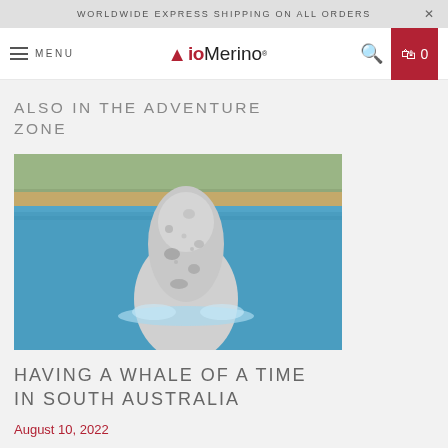WORLDWIDE EXPRESS SHIPPING ON ALL ORDERS
MENU | AioMerino | Search | 0
ALSO IN THE ADVENTURE ZONE
[Figure (photo): A whale breaching out of blue ocean water with a rocky shoreline in the background]
HAVING A WHALE OF A TIME IN SOUTH AUSTRALIA
August 10, 2022